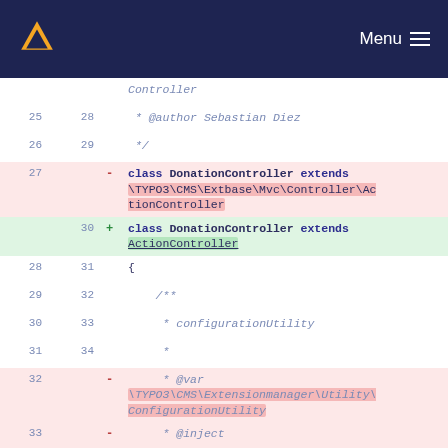Menu
Code diff showing DonationController class change, removing TYPO3\CMS\Extbase\Mvc\Controller\ActionController extension and replacing with ActionController, and removing configurationUtility @var \TYPO3\CMS\Extensionmanager\Utility\ConfigurationUtility @inject @lazy annotations, replacing with @var \TYPO3\CMS\Core\Configuration\ExtensionConfiguration.